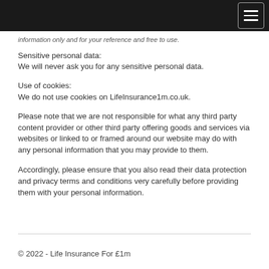information only and for your reference and free to use.
Sensitive personal data:
We will never ask you for any sensitive personal data.
Use of cookies:
We do not use cookies on LifeInsurance1m.co.uk.
Please note that we are not responsible for what any third party content provider or other third party offering goods and services via websites or linked to or framed around our website may do with any personal information that you may provide to them.
Accordingly, please ensure that you also read their data protection and privacy terms and conditions very carefully before providing them with your personal information.
© 2022 - Life Insurance For £1m